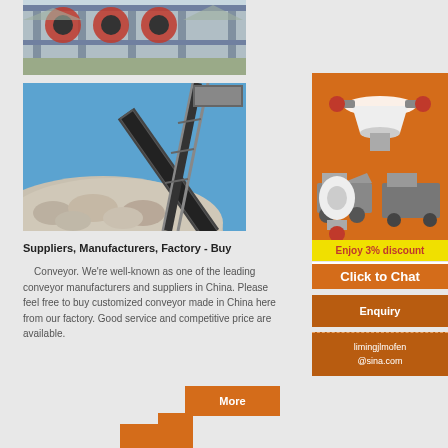[Figure (photo): Industrial factory building with large circular machinery/fans visible, steel structure, mountains in background]
[Figure (photo): Conveyor belt system carrying crushed stone/rocks against blue sky, industrial quarry equipment]
Suppliers, Manufacturers, Factory - Buy
Conveyor. We're well-known as one of the leading conveyor manufacturers and suppliers in China. Please feel free to buy customized conveyor made in China here from our factory. Good service and competitive price are available.
[Figure (photo): Advertisement showing mining/crushing equipment machines on orange background]
Enjoy 3% discount
Click to Chat
Enquiry
limingjlmofen@sina.com
More